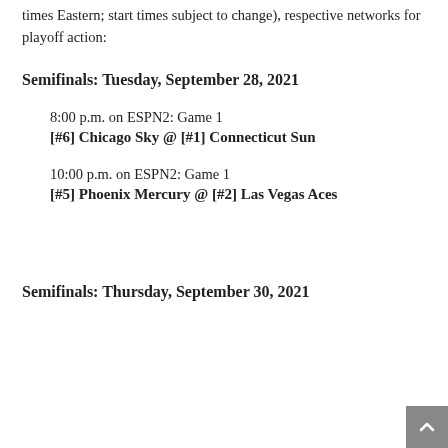times Eastern; start times subject to change), respective networks for playoff action:
Semifinals: Tuesday, September 28, 2021
8:00 p.m. on ESPN2: Game 1
[#6] Chicago Sky @ [#1] Connecticut Sun
10:00 p.m. on ESPN2: Game 1
[#5] Phoenix Mercury @ [#2] Las Vegas Aces
Semifinals: Thursday, September 30, 2021